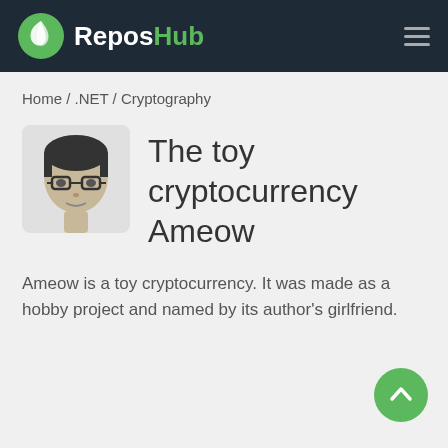ReposHub
Home / .NET / Cryptography
[Figure (illustration): Avatar portrait of a person wearing glasses, grayscale illustration]
The toy cryptocurrency Ameow
Ameow is a toy cryptocurrency. It was made as a hobby project and named by its author's girlfriend.